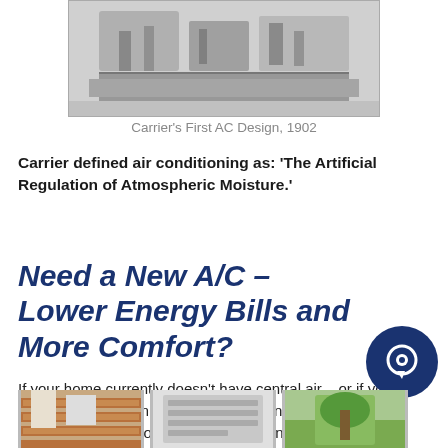[Figure (photo): Black and white photograph of Carrier's First AC Design from 1902, showing industrial equipment.]
Carrier's First AC Design, 1902
Carrier defined air conditioning as: 'The Artificial Regulation of Atmospheric Moisture.'
Need a New A/C – Lower Energy Bills and More Comfort?
If your home currently doesn't have central air – or if your existing A/C system is old, unreliable and costly to run – we can help! We work with all makes and models.
[Figure (photo): Three small thumbnail images at the bottom of the page showing various AC-related imagery including a brick building exterior, an AC unit, and greenery.]